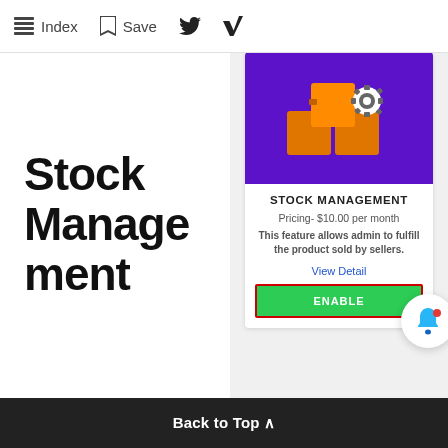Index  Save
Stock Management
[Figure (screenshot): Stock Management app card with purple background showing orange boxes stacked, a gear icon, title STOCK MANAGEMENT, pricing $10.00 per month, description text, View Detail link, and a green ENABLE button with red border. A blue notification bell icon appears at bottom right.]
Back to Top ^